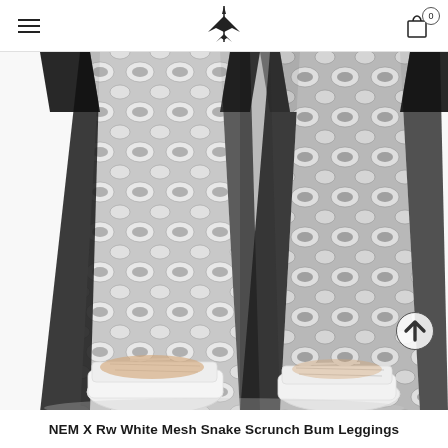NEM X Rw (navigation header with logo and cart icon showing 0 items)
[Figure (photo): A close-up photo of a person wearing snake print and mesh leggings with white sneakers, shot from the knees down against a white background. The leggings feature a black and white snakeskin pattern on the front with solid black mesh panels on the sides.]
NEM X Rw White Mesh Snake Scrunch Bum Leggings